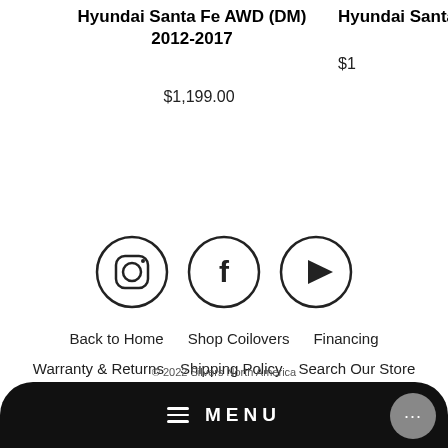Hyundai Santa Fe AWD (DM) 2012-2017
$1,199.00
Hyundai Santa
$1
[Figure (infographic): Three social media icons in circles: Instagram, Facebook, YouTube]
Back to Home
Shop Coilovers
Financing
Warranty & Returns
Shipping Policy
Search Our Store
[Figure (infographic): Payment method icons: AMEX, Apple Pay, Diners, Discover, Meta, Google Pay, Mastercard]
© 2022 Silvers North America
MENU